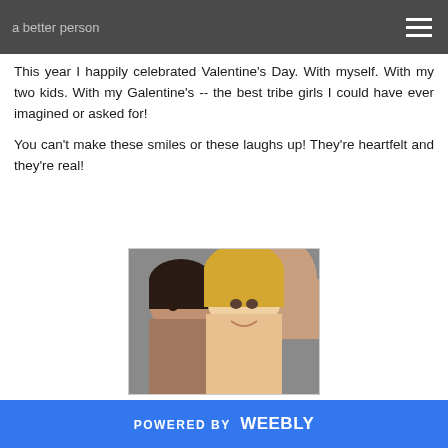a better person
This year I happily celebrated Valentine's Day. With myself. With my two kids. With my Galentine's -- the best tribe girls I could have ever imagined or asked for!
You can't make these smiles or these laughs up! They're heartfelt and they're real!
[Figure (photo): Two women smiling and laughing together, one with dark hair appearing to kiss the cheek of the other with blonde hair, with a third person partially visible in the background.]
POWERED BY weebly